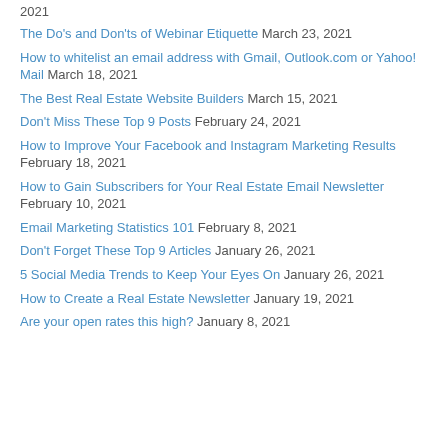2021
The Do's and Don'ts of Webinar Etiquette March 23, 2021
How to whitelist an email address with Gmail, Outlook.com or Yahoo! Mail March 18, 2021
The Best Real Estate Website Builders March 15, 2021
Don't Miss These Top 9 Posts February 24, 2021
How to Improve Your Facebook and Instagram Marketing Results February 18, 2021
How to Gain Subscribers for Your Real Estate Email Newsletter February 10, 2021
Email Marketing Statistics 101 February 8, 2021
Don't Forget These Top 9 Articles January 26, 2021
5 Social Media Trends to Keep Your Eyes On January 26, 2021
How to Create a Real Estate Newsletter January 19, 2021
Are your open rates this high? January 8, 2021